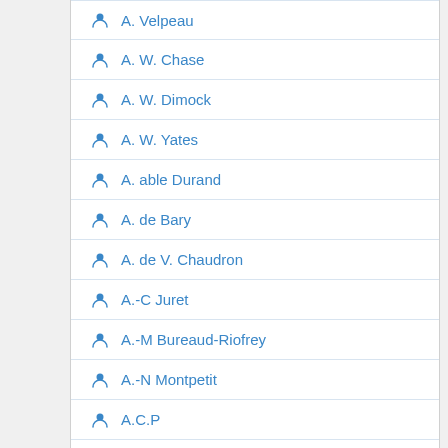A. Velpeau
A. W. Chase
A. W. Dimock
A. W. Yates
A. able Durand
A. de Bary
A. de V. Chaudron
A.-C Juret
A.-M Bureaud-Riofrey
A.-N Montpetit
A.C.P